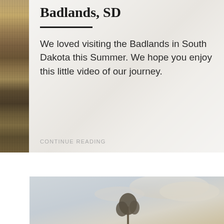[Figure (photo): Side strip photo of Badlands, South Dakota landscape showing rocky terrain and dry grass]
Badlands, SD
We loved visiting the Badlands in South Dakota this Summer. We hope you enjoy this little video of our journey.
CONTINUE READING
[Figure (photo): Bottom photo showing Badlands/landscape with sky, clouds, and a tree silhouette]